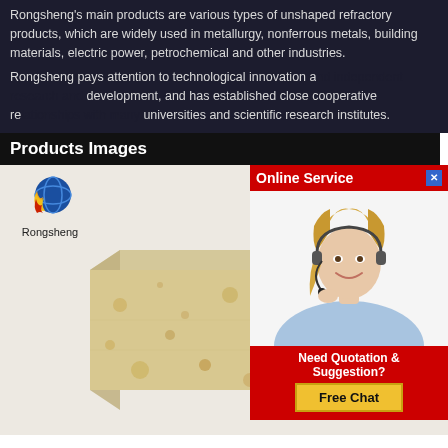Rongsheng's main products are various types of unshaped refractory products, which are widely used in metallurgy, nonferrous metals, building materials, electric power, petrochemical and other industries.
Rongsheng pays attention to technological innovation and independent research and development, and has established close cooperative relationships with many universities and scientific research institutes.
Products Images
[Figure (photo): Rongsheng logo (flame and globe graphic) with brand name below, and a photo of a refractory firebrick (tan/cream colored rectangular brick with speckled surface) on a light background.]
[Figure (infographic): Online Service popup overlay with red header showing 'Online Service' text and a blue X close button, a photo of a female customer service agent wearing a headset and smiling, and a red bottom section with text 'Need Quotation & Suggestion?' and a yellow 'Free Chat' button.]